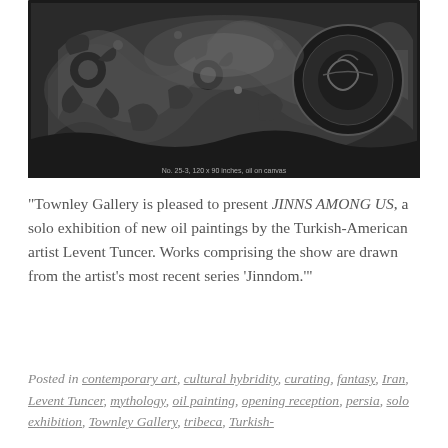[Figure (photo): Black and white photograph of an ornate oil painting with elaborate floral and mythological motifs, dense swirling decorative elements in dark tones.]
No. 25-3, 120 x 90 inches, oil on canvas
"Townley Gallery is pleased to present JINNS AMONG US, a solo exhibition of new oil paintings by the Turkish-American artist Levent Tuncer. Works comprising the show are drawn from the artist's most recent series 'Jinndom.'"
Posted in contemporary art, cultural hybridity, curating, fantasy, Iran, Levent Tuncer, mythology, oil painting, opening reception, persia, solo exhibition, Townley Gallery, tribeca, Turkish-